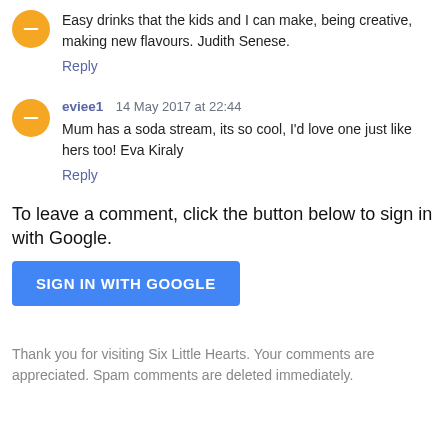Easy drinks that the kids and I can make, being creative, making new flavours. Judith Senese.
Reply
eviee1  14 May 2017 at 22:44
Mum has a soda stream, its so cool, I'd love one just like hers too! Eva Kiraly
Reply
To leave a comment, click the button below to sign in with Google.
SIGN IN WITH GOOGLE
Thank you for visiting Six Little Hearts. Your comments are appreciated. Spam comments are deleted immediately.